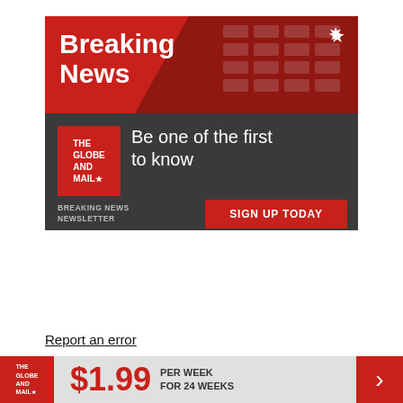[Figure (illustration): The Globe and Mail Breaking News newsletter advertisement banner. Red top half with 'Breaking News' in large white bold text and a maple leaf icon top right, diagonal dark overlay with keyboard texture. Dark grey bottom half with The Globe and Mail red logo box, tagline 'Be one of the first to know', 'BREAKING NEWS NEWSLETTER' label, and a red 'SIGN UP TODAY' button.]
Report an error
[Figure (illustration): Bottom subscription banner: The Globe and Mail red logo on left, '$1.99' in large red text, 'PER WEEK FOR 24 WEEKS' in dark text, red arrow chevron on right.]